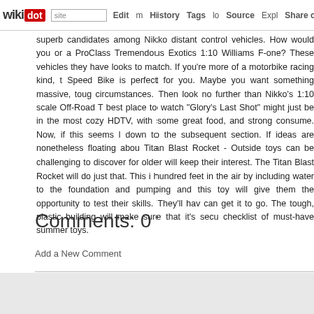wikidot | site | Edit | History | Tags | Source | Explore | Share on [Twitter]
superb candidates among Nikko distant control vehicles. How would you or a ProClass Tremendous Exotics 1:10 Williams F-one? These vehicles they have looks to match. If you're more of a motorbike racing kind, t Speed Bike is perfect for you. Maybe you want something massive, toug circumstances. Then look no further than Nikko's 1:10 scale Off-Road T best place to watch "Glory's Last Shot" might just be in the most cozy HDTV, with some great food, and strong consume. Now, if this seems l down to the subsequent section. If ideas are nonetheless floating abou Titan Blast Rocket - Outside toys can be challenging to discover for older will keep their interest. The Titan Blast Rocket will do just that. This i hundred feet in the air by including water to the foundation and pumping and this toy will give them the opportunity to test their skills. They'll hav can get it to go. The tough, plastic building will make sure that it's secu checklist of must-have summer toys.
Comments: 0
Add a New Comment
page revi
Edit    Tags    History
Powered by Wikidot.com
Unless otherwise stated, the content of this page is lice